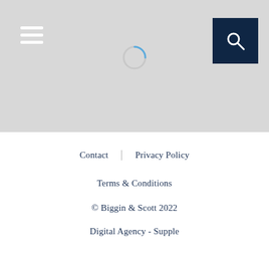[Figure (screenshot): Website header area with grey background, hamburger menu icon on the left, a loading spinner in the center, and a dark navy search button on the top right]
Contact | Privacy Policy
Terms & Conditions
© Biggin & Scott 2022
Digital Agency - Supple